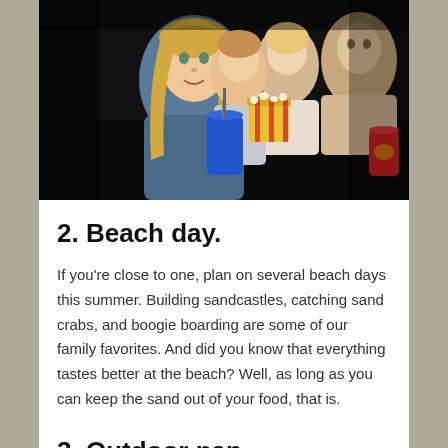[Figure (photo): Family sitting in a movie theater watching a film, eating popcorn and holding drinks. A woman with long blonde hair in the foreground, a girl and two men behind her.]
2. Beach day.
If you're close to one, plan on several beach days this summer. Building sandcastles, catching sand crabs, and boogie boarding are some of our family favorites. And did you know that everything tastes better at the beach? Well, as long as you can keep the sand out of your food, that is.
3. Outdoor nap.